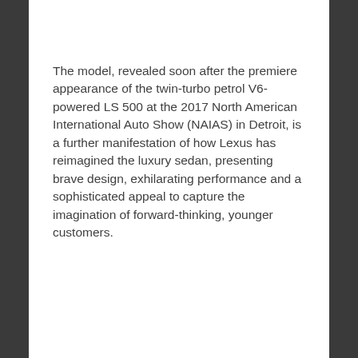The model, revealed soon after the premiere appearance of the twin-turbo petrol V6-powered LS 500 at the 2017 North American International Auto Show (NAIAS) in Detroit, is a further manifestation of how Lexus has reimagined the luxury sedan, presenting brave design, exhilarating performance and a sophisticated appeal to capture the imagination of forward-thinking, younger customers.